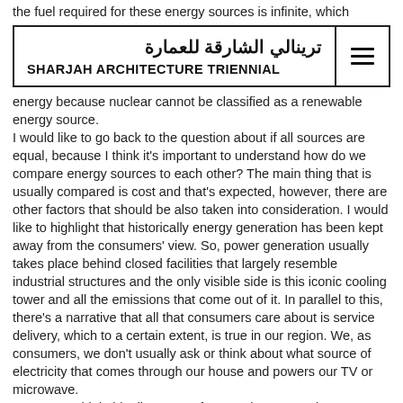the fuel required for these energy sources is infinite, which
[Figure (logo): Sharjah Architecture Triennial logo with Arabic text 'ترينالي الشارقة للعمارة' and English text 'SHARJAH ARCHITECTURE TRIENNIAL', with a hamburger menu icon on the right side, enclosed in a rectangular border.]
energy because nuclear cannot be classified as a renewable energy source.
I would like to go back to the question about if all sources are equal, because I think it's important to understand how do we compare energy sources to each other? The main thing that is usually compared is cost and that's expected, however, there are other factors that should be also taken into consideration. I would like to highlight that historically energy generation has been kept away from the consumers' view. So, power generation usually takes place behind closed facilities that largely resemble industrial structures and the only visible side is this iconic cooling tower and all the emissions that come out of it. In parallel to this, there's a narrative that all that consumers care about is service delivery, which to a certain extent, is true in our region. We, as consumers, we don't usually ask or think about what source of electricity that comes through our house and powers our TV or microwave.
However, I think this discourse of separating generation